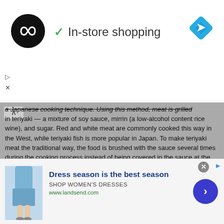[Figure (logo): Black circular logo with infinity/loop symbol in white]
✓ In-store shopping
[Figure (illustration): Blue diamond navigation/directions icon in top right]
a Japanese cooking technique. Using this method, meat is grilled in teriyaki — a mixture of soy sauce, mirrin (a low-alcohol content rice wine), and sugar. Red and white meat are commonly cooked this way in the West, while teriyaki fish is more popular in Japan. To make teriyaki meat the traditional way, the food is brushed with the sauce several times during the cooking process instead of being covered in the sauce at the end.
[Figure (screenshot): Dark video player overlay with blue play controls, circular icon top-left, mute icon bottom-left, on dark background with food imagery]
The word "teriyaki" is a hybrid c... "grill/broil." The mirrin gives ter... looking for a great teriyaki chick... sauce from scratch, it's availab... delicious Slow Cooker Teriyaki...
[Figure (photo): Advertisement banner: woman's legs in blue dress, Lands' End ad - Dress season is the best season, SHOP WOMEN'S DRESSES, www.landsend.com, with blue CTA button]